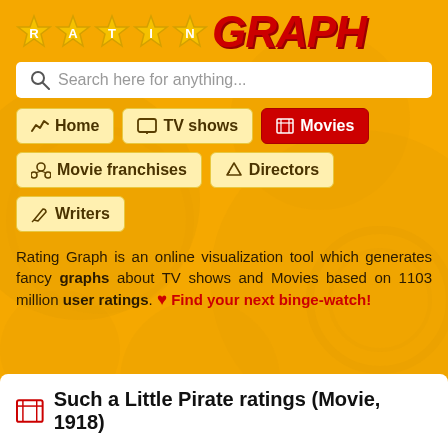RATING GRAPH
Search here for anything...
Home
TV shows
Movies
Movie franchises
Directors
Writers
Rating Graph is an online visualization tool which generates fancy graphs about TV shows and Movies based on 1103 million user ratings. ♥ Find your next binge-watch!
Such a Little Pirate ratings (Movie, 1918)